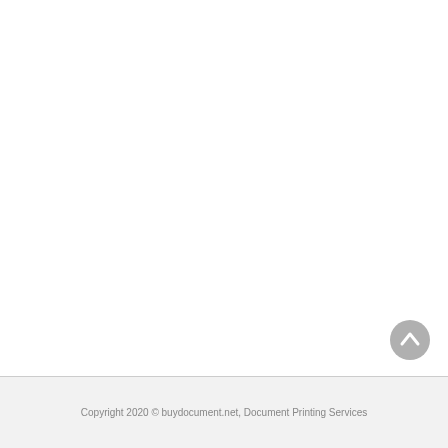[Figure (other): Scroll-to-top button: a gray circle with a white upward-pointing chevron arrow, positioned in the lower-right area of the main content region.]
Copyright 2020 © buydocument.net, Document Printing Services